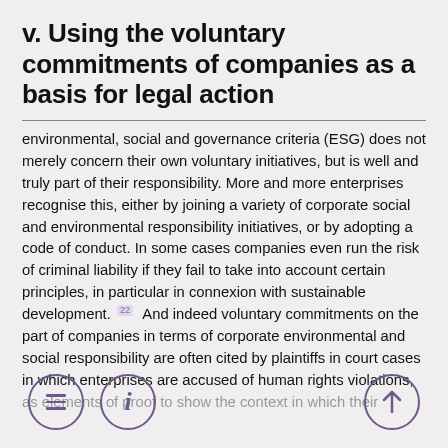v. Using the voluntary commitments of companies as a basis for legal action
environmental, social and governance criteria (ESG) does not merely concern their own voluntary initiatives, but is well and truly part of their responsibility. More and more enterprises recognise this, either by joining a variety of corporate social and environmental responsibility initiatives, or by adopting a code of conduct. In some cases companies even run the risk of criminal liability if they fail to take into account certain principles, in particular in connexion with sustainable development.  22  And indeed voluntary commitments on the part of companies in terms of corporate environmental and social responsibility are often cited by plaintiffs in court cases in which enterprises are accused of human rights violations, as elements of proof to show the context in which their